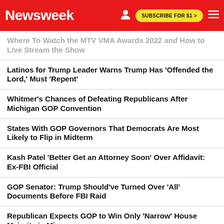Newsweek | SUBSCRIBE FOR $1 >
Where To Watch the MTV VMA Awards 2022 and How to Live Stream the Show
Latinos for Trump Leader Warns Trump Has 'Offended the Lord,' Must 'Repent'
Whitmer's Chances of Defeating Republicans After Michigan GOP Convention
States With GOP Governors That Democrats Are Most Likely to Flip in Midterm
Kash Patel 'Better Get an Attorney Soon' Over Affidavit: Ex-FBI Official
GOP Senator: Trump Should've Turned Over 'All' Documents Before FBI Raid
Republican Expects GOP to Win Only 'Narrow' House Majority in Mi...